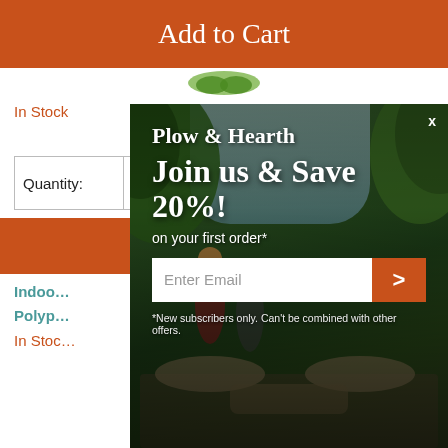Add to Cart
In Stock
$42.95
Quantity: 1
[Figure (screenshot): Popup modal overlay with outdoor patio background image showing Plow & Hearth branding, 'Join us & Save 20%!' headline, 'on your first order*' subtext, email input field with orange submit button, and disclaimer text.]
Indoor…
Polyp…
In Stoc…
19.95